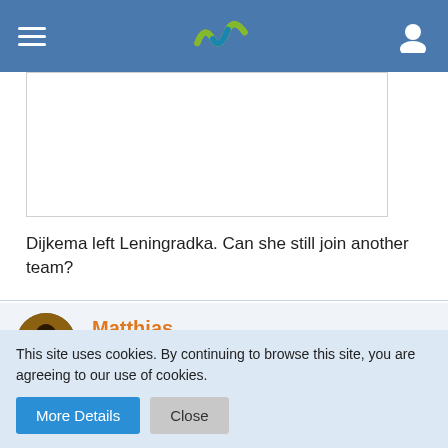Navigation bar with hamburger menu, logo, and user icon
Dijkema left Leningradka. Can she still join another team?
Matthias
Setter & Coach
Mar 4th 2022
This site uses cookies. By continuing to browse this site, you are agreeing to our use of cookies.